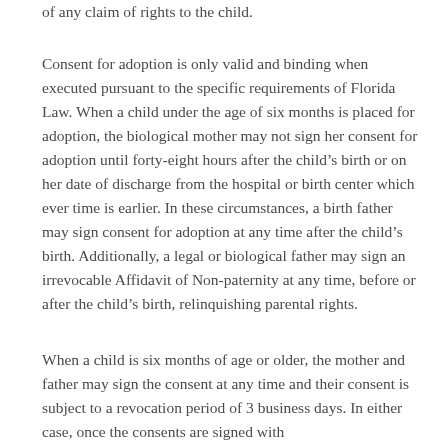of any claim of rights to the child.
Consent for adoption is only valid and binding when executed pursuant to the specific requirements of Florida Law. When a child under the age of six months is placed for adoption, the biological mother may not sign her consent for adoption until forty-eight hours after the child’s birth or on her date of discharge from the hospital or birth center which ever time is earlier. In these circumstances, a birth father may sign consent for adoption at any time after the child’s birth. Additionally, a legal or biological father may sign an irrevocable Affidavit of Non-paternity at any time, before or after the child’s birth, relinquishing parental rights.
When a child is six months of age or older, the mother and father may sign the consent at any time and their consent is subject to a revocation period of 3 business days. In either case, once the consents are signed with